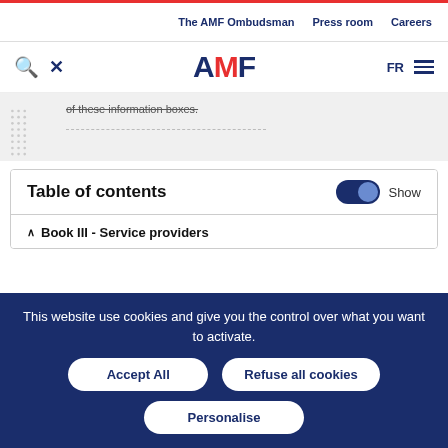The AMF Ombudsman | Press room | Careers
[Figure (logo): AMF logo with red M letter, search and tools icons on left, FR language and hamburger menu on right]
of these information boxes.
Table of contents
Show
Book III - Service providers
This website use cookies and give you the control over what you want to activate.
Accept All
Refuse all cookies
Personalise